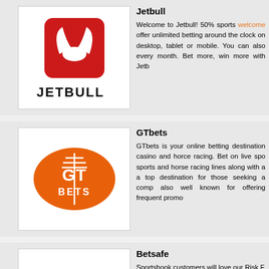[Figure (logo): Jetbull logo: red rounded square with white bull horns icon above, JETBULL text in black below]
Jetbull
Welcome to Jetbull! 50% sports welcome offer unlimited betting around the clock on desktop, tablet or mobile. You can also every month. Bet more, win more with Jetb
[Figure (logo): GTbets logo: orange American football shape with GT BETS text in white]
GTbets
GTbets is your online betting destination casino and horce racing. Bet on live spo sports and horse racing lines along with a a top destination for those seeking a comp also well known for offering frequent promo
[Figure (logo): Betsafe logo placeholder (white box)]
Betsafe
Sportsbook customers will love our Risk F